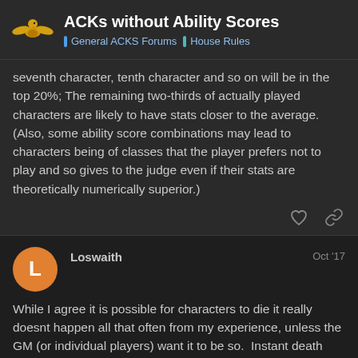ACKs without Ability Scores — General ACKS Forums · House Rules
seventh character, tenth character and so on will be in the top 20%; The remaining two-thirds of actually played characters are likely to have stats closer to the average. (Also, some ability score combinations may lead to characters being of classes that the player prefers not to play and so gives to the judge even if their stats are theoretically numerically superior.)
Loswaith   Oct '17
While I agree it is possible for characters to die it really doesnt happen all that often from my experience, unless the GM (or individual players) want it to be so.  Instant death situations usualy happen later on as well when it is just much more feasable to take up a henchman than start with a much lower level character.  While 6+ months down th players even have or recall those stats the